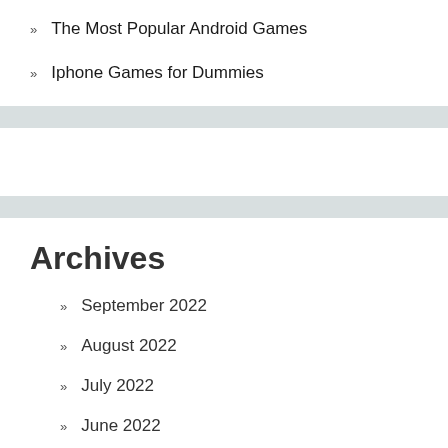The Most Popular Android Games
Iphone Games for Dummies
Archives
September 2022
August 2022
July 2022
June 2022